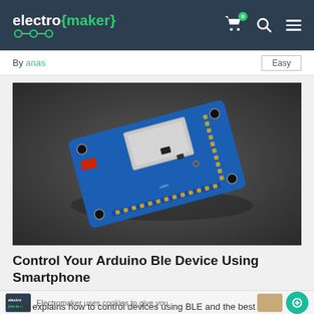electro {maker}
By anas
Easy
[Figure (photo): A blue Arduino BLE module/breakout board photographed on a dark background. The board has a silver metallic module on top, red components, multiple pin headers, and mounting holes.]
Control Your Arduino Ble Device Using Smartphone
Electromaker uses cookies to give you
This explains how to control devices using BLE and the best experience.